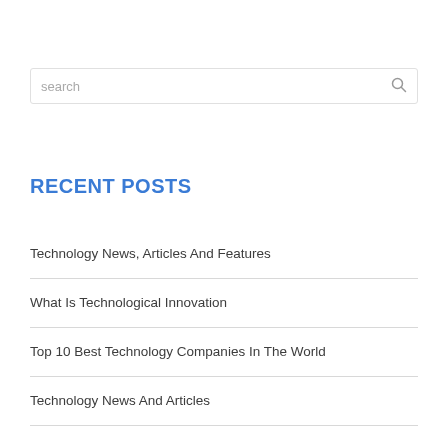search
RECENT POSTS
Technology News, Articles And Features
What Is Technological Innovation
Top 10 Best Technology Companies In The World
Technology News And Articles